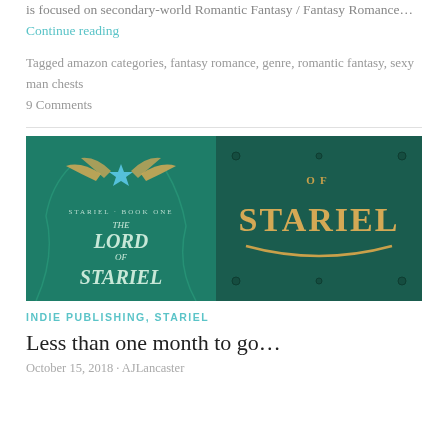is focused on secondary-world Romantic Fantasy / Fantasy Romance… Continue reading
Tagged amazon categories, fantasy romance, genre, romantic fantasy, sexy man chests
9 Comments
[Figure (photo): Two images side by side of 'The Lord of Stariel' book cover — left shows the full book cover with teal/green background and golden winged star, right shows a close-up of 'of STARIEL' text in gold lettering on a dark teal door or surface.]
INDIE PUBLISHING, STARIEL
Less than one month to go…
October 15, 2018 · AJLancaster